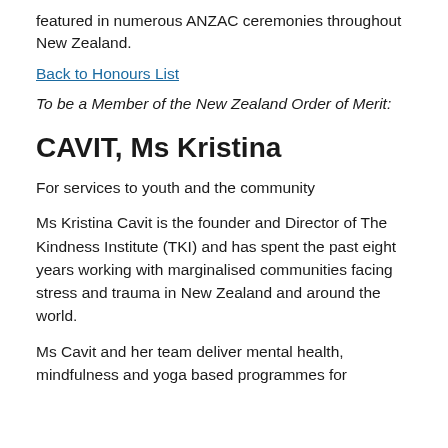featured in numerous ANZAC ceremonies throughout New Zealand.
Back to Honours List
To be a Member of the New Zealand Order of Merit:
CAVIT, Ms Kristina
For services to youth and the community
Ms Kristina Cavit is the founder and Director of The Kindness Institute (TKI) and has spent the past eight years working with marginalised communities facing stress and trauma in New Zealand and around the world.
Ms Cavit and her team deliver mental health, mindfulness and yoga based programmes for